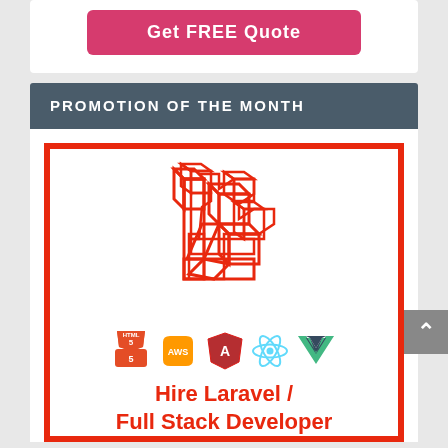[Figure (other): Get FREE Quote button (pink/red rounded rectangle)]
PROMOTION OF THE MONTH
[Figure (illustration): Laravel logo (red geometric L-shape with connected cubes) with technology icons below: HTML5, AWS, Angular, React, Vue. Text reads: Hire Laravel / Full Stack Developer]